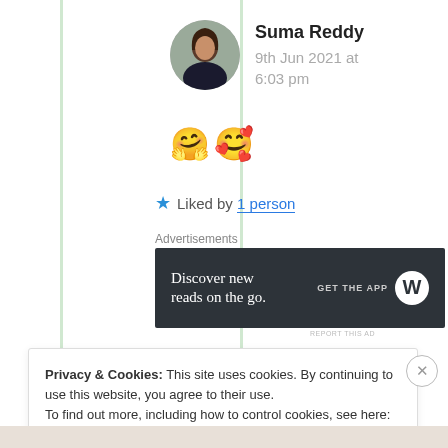Suma Reddy
9th Jun 2021 at 6:03 pm
🤗🥰
★ Liked by 1 person
Advertisements
[Figure (other): WordPress app advertisement banner: 'Discover new reads on the go. GET THE APP' with WordPress logo]
REPORT THIS AD
Privacy & Cookies: This site uses cookies. By continuing to use this website, you agree to their use.
To find out more, including how to control cookies, see here: Cookie Policy
Close and accept